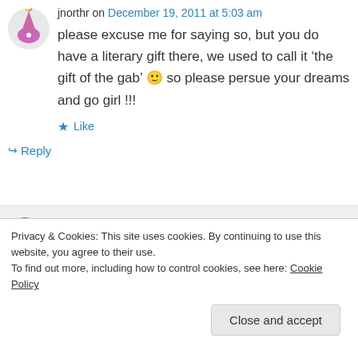jnorthr on December 19, 2011 at 5:03 am
please excuse me for saying so, but you do have a literary gift there, we used to call it ‘the gift of the gab’ 🙂 so please persue your dreams and go girl !!!
★ Like
↪ Reply
Deidra Alexander on December 19, 2011 at
Privacy & Cookies: This site uses cookies. By continuing to use this website, you agree to their use.
To find out more, including how to control cookies, see here: Cookie Policy
Close and accept